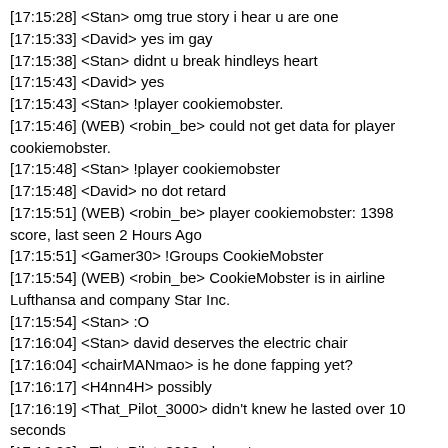[17:15:28] <Stan> omg true story i hear u are one
[17:15:33] <David> yes im gay
[17:15:38] <Stan> didnt u break hindleys heart
[17:15:43] <David> yes
[17:15:43] <Stan> !player cookiemobster.
[17:15:46] (WEB) <robin_be> could not get data for player cookiemobster.
[17:15:48] <Stan> !player cookiemobster
[17:15:48] <David> no dot retard
[17:15:51] (WEB) <robin_be> player cookiemobster: 1398 score, last seen 2 Hours Ago
[17:15:51] <Gamer30> !Groups CookieMobster
[17:15:54] (WEB) <robin_be> CookieMobster is in airline Lufthansa and company Star Inc.
[17:15:54] <Stan> :O
[17:16:04] <Stan> david deserves the electric chair
[17:16:04] <chairMANmao> is he done fapping yet?
[17:16:17] <H4nn4H> possibly
[17:16:19] <That_Pilot_3000> didn't knew he lasted over 10 seconds
[17:16:22] <That_Pilot_3000> know*
[17:16:32] <Stan> !groups
[17:16:34] (WEB) <robin_be> Stan is in airline Jetstar Airways and company Lufthansa Cargo
[17:16:34] <That_Pilot_3000> 1 more job to reach 1111